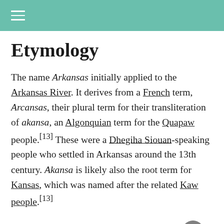≡ (hamburger menu)
Etymology
The name Arkansas initially applied to the Arkansas River. It derives from a French term, Arcansas, their plural term for their transliteration of akansa, an Algonquian term for the Quapaw people.[13] These were a Dhegiha Siouan-speaking people who settled in Arkansas around the 13th century. Akansa is likely also the root term for Kansas, which was named after the related Kaw people.[13]
The name has been pronounced and spelled in a variety of ways.[c] In 1881, the state